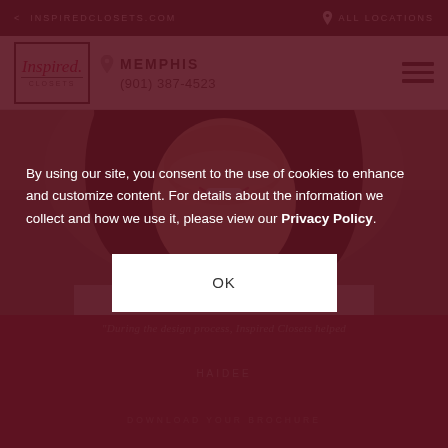< INSPIREDCLOSETS.COM   ♡ ALL LOCATIONS
[Figure (logo): Inspired Closets logo in a bordered box]
MEMPHIS
(901) 387-4523
[Figure (photo): Close-up photo of a smiling woman with dark hair wearing a gray sweater]
"During the design process, Inspired Closets helped
HAIDEE
DOWNLOAD YOUR BROCHURE
By using our site, you consent to the use of cookies to enhance and customize content. For details about the information we collect and how we use it, please view our Privacy Policy.
OK